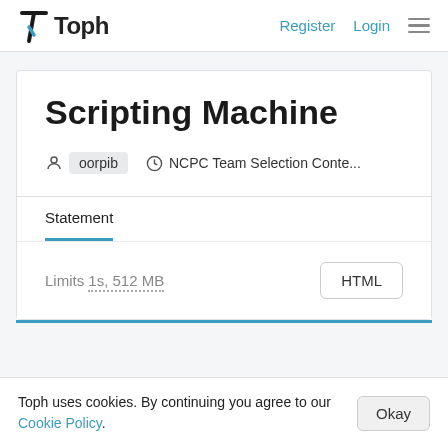Toph  Register  Login
Scripting Machine
oorpib   NCPC Team Selection Conte...
Statement
Limits 1s, 512 MB
HTML
Toph uses cookies. By continuing you agree to our Cookie Policy.
Okay